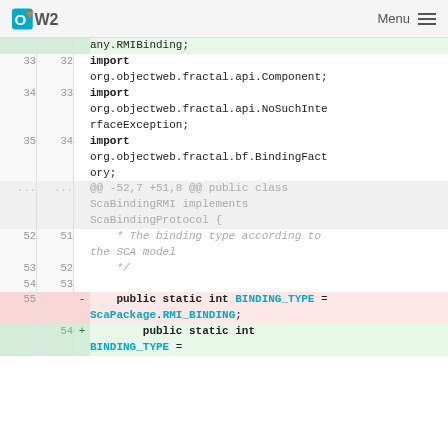OW2 | Menu
[Figure (screenshot): Code diff view showing Java source file changes. Lines 33-55 with old and new line numbers, additions in green, deletions in red, and context lines in white/gray.]